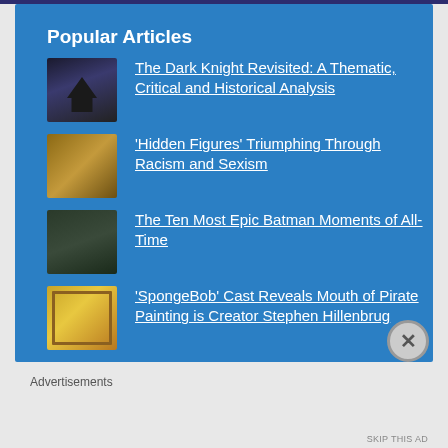Popular Articles
The Dark Knight Revisited: A Thematic, Critical and Historical Analysis
'Hidden Figures' Triumphing Through Racism and Sexism
The Ten Most Epic Batman Moments of All-Time
'SpongeBob' Cast Reveals Mouth of Pirate Painting is Creator Stephen Hillenbrug
Advertisements
SKIP THIS AD